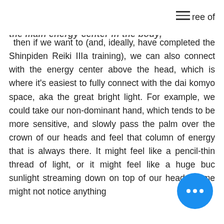ree of
the main energy center in the body, then if we want to (and, ideally, have completed the Shinpiden Reiki IIIa training), we can also connect with the energy center above the head, which is where it's easiest to fully connect with the dai komyo space, aka the great bright light. For example, we could take our non-dominant hand, which tends to be more sensitive, and slowly pass the palm over the crown of our heads and feel that column of energy that is always there. It might feel like a pencil-thin thread of light, or it might feel like a huge buc… sunlight streaming down on top of our head…some might not notice anything…